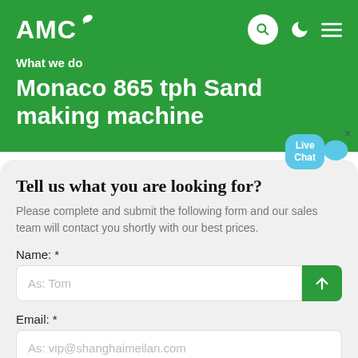[Figure (logo): AMC logo with leaf icon on green background, with navigation icons (search circle, moon, hamburger menu)]
What we do
Monaco 865 tph Sand making machine
Tell us what you are looking for?
Please complete and submit the following form and our sales team will contact you shortly with our best prices.
Name: *
As: Tom
Email: *
As: vip@shanghaimeilan.com
Phone: *